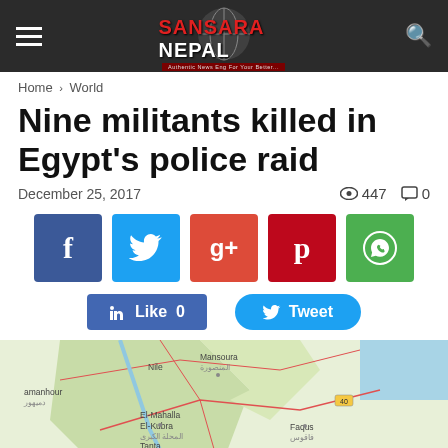SANSARA NEPAL
Home › World
Nine militants killed in Egypt's police raid
December 25, 2017   👁 447   💬 0
[Figure (infographic): Social media share buttons: Facebook, Twitter, Google+, Pinterest, WhatsApp; Like 0 and Tweet buttons]
[Figure (map): Google Maps showing Egypt's Nile Delta region, including locations: Damanhour, El-Mahalla El-Kubra, Tanta, Mansoura, Faqus, Ismailia, Zagazig]